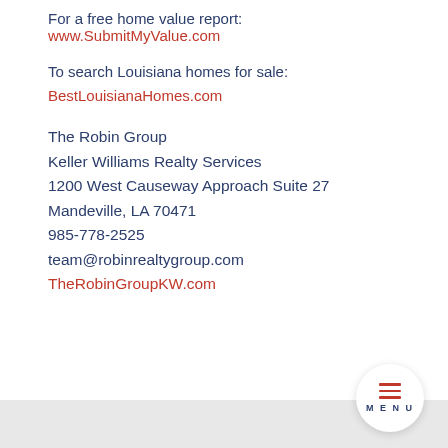For a free home value report: www.SubmitMyValue.com
To search Louisiana homes for sale:
BestLouisianaHomes.com
The Robin Group
Keller Williams Realty Services
1200 West Causeway Approach Suite 27
Mandeville, LA 70471
985-778-2525
team@robinrealtygroup.com
TheRobinGroupKW.com